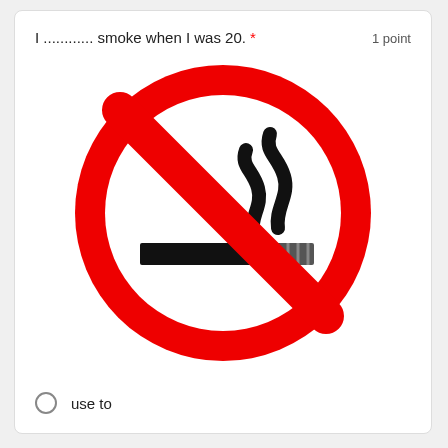I ............ smoke when I was 20. * 1 point
[Figure (illustration): No smoking sign: red circle with diagonal red bar over a black cigarette with smoke swirls]
use to